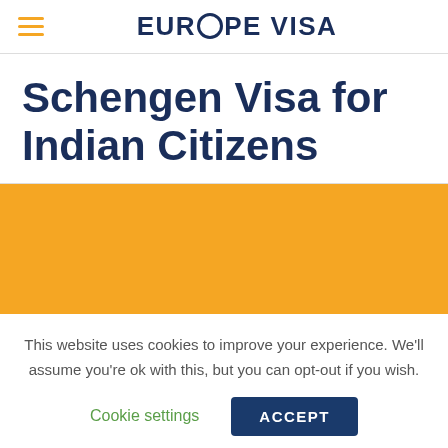EUROPE VISA
Schengen Visa for Indian Citizens
[Figure (other): Orange rectangular image block (partially visible)]
This website uses cookies to improve your experience. We'll assume you're ok with this, but you can opt-out if you wish.
Cookie settings   ACCEPT